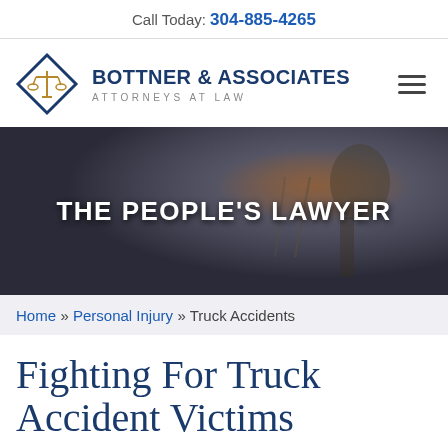Call Today: 304-885-4265
[Figure (logo): Bottner & Associates Attorneys at Law logo with diamond shape containing scales of justice icon]
[Figure (photo): Dark hero banner with Lady Justice statue holding scales, overlay text 'THE PEOPLE'S LAWYER']
Home » Personal Injury » Truck Accidents
Fighting For Truck Accident Victims